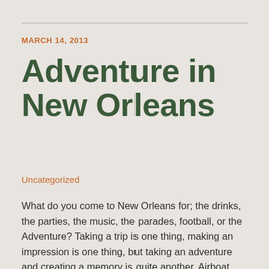MARCH 14, 2013
Adventure in New Orleans
Uncategorized
What do you come to New Orleans for; the drinks, the parties, the music, the parades, football, or the Adventure? Taking a trip is one thing, making an impression is one thing, but taking an adventure and creating a memory is quite another. Airboat Adventures is a company that offers you such an adventure. They [...]